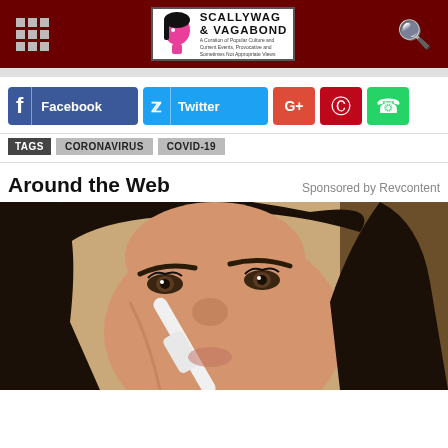Scallywag & Vagabond
Facebook
Twitter
G+
Pinterest
WhatsApp
TAGS CORONAVIRUS COVID-19
Around the Web
Sponsored by Revcontent
[Figure (photo): Close-up photo of a woman with dark hair having a white applicator tool applied to her nose area]